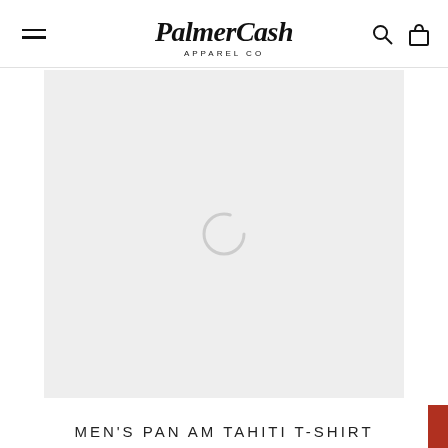PalmerCash Apparel Co
[Figure (screenshot): Product image placeholder area with loading spinner on light gray background]
MEN'S PAN AM TAHITI T-SHIRT